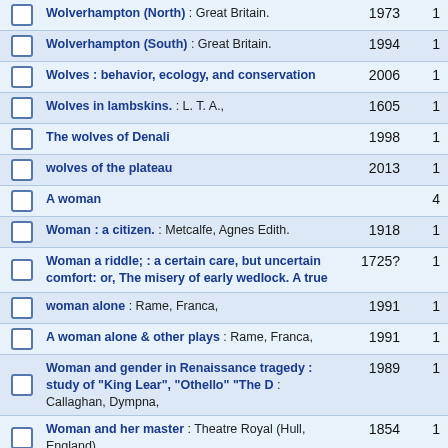Wolverhampton (North) : Great Britain. 1973 1
Wolverhampton (South) : Great Britain. 1994 1
Wolves : behavior, ecology, and conservation 2006 1
Wolves in lambskins. : L. T. A., 1605 1
The wolves of Denali 1998 1
wolves of the plateau 2013 1
A woman  4
Woman : a citizen. : Metcalfe, Agnes Edith. 1918 1
Woman a riddle; : a certain care, but uncertain comfort: or, The misery of early wedlock. A true 1725? 1
woman alone : Rame, Franca, 1991 1
A woman alone & other plays : Rame, Franca, 1991 1
Woman and gender in Renaissance tragedy : study of "King Lear", "Othello" "The D : Callaghan, Dympna, 1989 1
Woman and her master : Theatre Royal (Hull, England) 1854 1
Woman and her master ; Signor Lupino and his trained dogs and monkeys ; Smith, Brown, Jones 1854 1